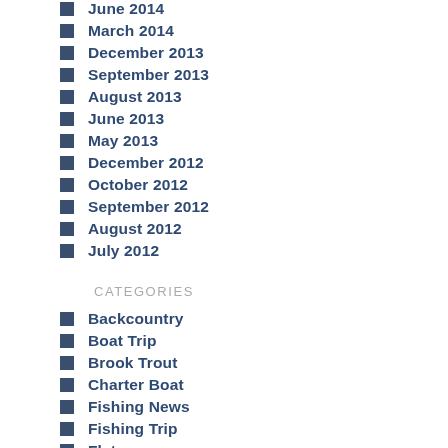June 2014
March 2014
December 2013
September 2013
August 2013
June 2013
May 2013
December 2012
October 2012
September 2012
August 2012
July 2012
CATEGORIES
Backcountry
Boat Trip
Brook Trout
Charter Boat
Fishing News
Fishing Trip
Flats
Float Trip
Fly Fishing
Freshwater
Grass Carp
Guide Service
Hosted Trip
How-To